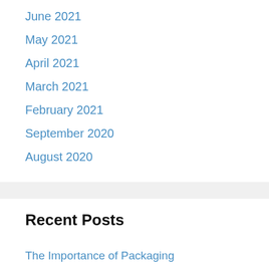June 2021
May 2021
April 2021
March 2021
February 2021
September 2020
August 2020
Recent Posts
The Importance of Packaging
Finding a Boxes Packaging Manufacturer in USA at New York